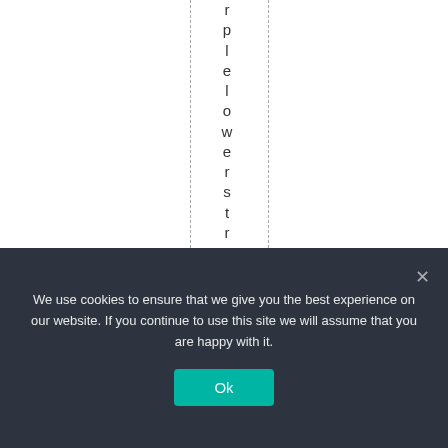[Figure (other): White background area with two vertical dashed lines and vertically-oriented text reading 'plelowerstrenghpa' running character by character top to bottom between the dashed lines]
We use cookies to ensure that we give you the best experience on our website. If you continue to use this site we will assume that you are happy with it. Ok